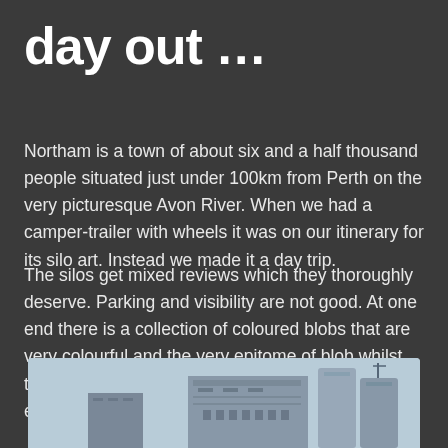day out …
Northam is a town of about six and a half thousand people situated just under 100km from Perth on the very picturesque Avon River. When we had a camper-trailer with wheels it was on our itinerary for its silo art. Instead we made it a day trip.
The silos get mixed reviews which they thoroughly deserve. Parking and visibility are not good. At one end there is a collection of coloured blobs that are very colourful and the very epitome of blob whilst the other end is much more quirky and does engage the intellect more thoroughly.
[Figure (photo): Photograph of large industrial grain silos/buildings against a light blue sky, showing the top portions of the structures]